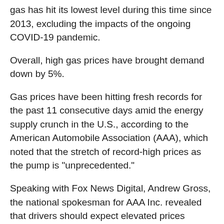gas has hit its lowest level during this time since 2013, excluding the impacts of the ongoing COVID-19 pandemic.
Overall, high gas prices have brought demand down by 5%.
Gas prices have been hitting fresh records for the past 11 consecutive days amid the energy supply crunch in the U.S., according to the American Automobile Association (AAA), which noted that the stretch of record-high prices as the pump is "unprecedented."
Speaking with Fox News Digital, Andrew Gross, the national spokesman for AAA Inc. revealed that drivers should expect elevated prices throughout the summer, especially if the war in Ukraine rages on.